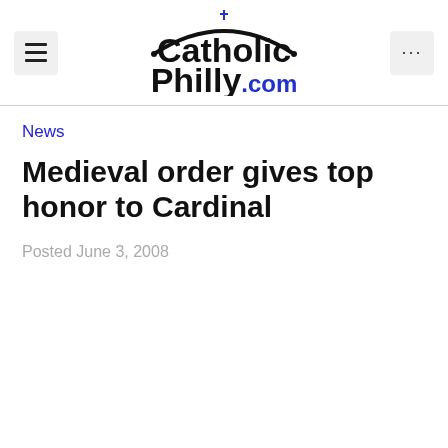CatholicPhilly.com
News
Medieval order gives top honor to Cardinal
Posted June 3, 2008